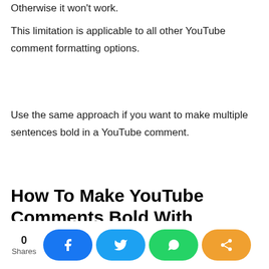Otherwise it won't work.
This limitation is applicable to all other YouTube comment formatting options.
Use the same approach if you want to make multiple sentences bold in a YouTube comment.
How To Make YouTube Comments Bold With TubeBuddy?
TubeBuddy is a browser plugin for iPhone and...